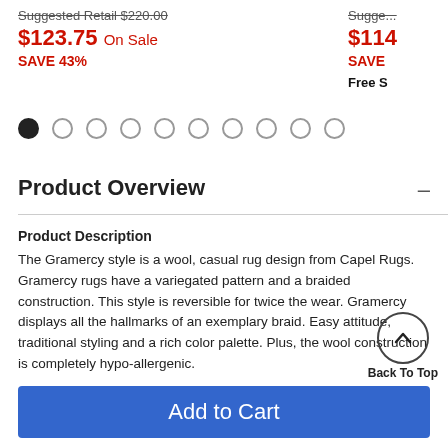Suggested Retail $220.00
$123.75 On Sale
SAVE 43%
Suggested Retail ...
$114...
SAVE ...
Free S...
[Figure (other): Pagination dots row: 10 circles, first one filled/active]
Product Overview —
Product Description
The Gramercy style is a wool, casual rug design from Capel Rugs. Gramercy rugs have a variegated pattern and a braided construction. This style is reversible for twice the wear. Gramercy displays all the hallmarks of an exemplary braid. Easy attitude, traditional styling and a rich color palette. Plus, the wool construction is completely hypo-allergenic.
Back To Top
Add to Cart